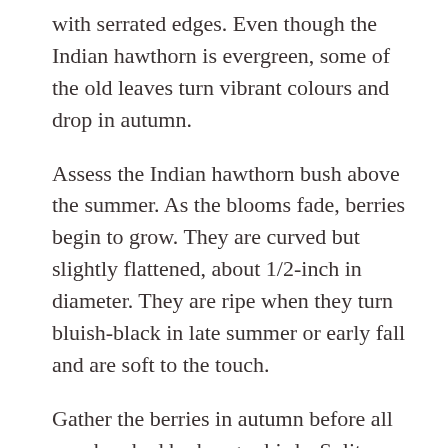with serrated edges. Even though the Indian hawthorn is evergreen, some of the old leaves turn vibrant colours and drop in autumn.
Assess the Indian hawthorn bush above the summer. As the blooms fade, berries begin to grow. They are curved but slightly flattened, about 1/2-inch in diameter. They are ripe when they turn bluish-black in late summer or early fall and are soft to the touch.
Gather the berries in autumn before all are absorbed by hungry birds. Split open a berry. Inside are two little seeds that can be used to